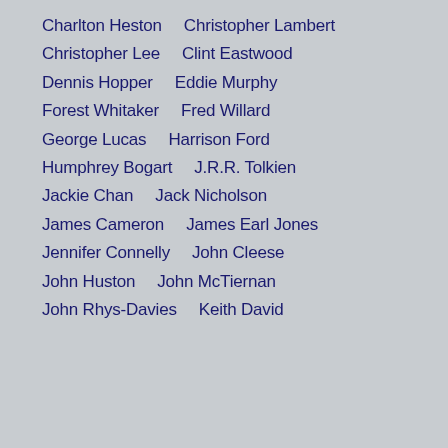Charlton Heston    Christopher Lambert
Christopher Lee    Clint Eastwood
Dennis Hopper    Eddie Murphy
Forest Whitaker    Fred Willard
George Lucas    Harrison Ford
Humphrey Bogart    J.R.R. Tolkien
Jackie Chan    Jack Nicholson
James Cameron    James Earl Jones
Jennifer Connelly    John Cleese
John Huston    John McTiernan
John Rhys-Davies    Keith David